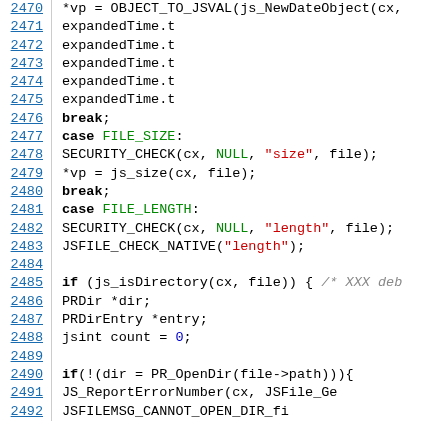[Figure (screenshot): Source code listing showing lines 2470-2492 of a C/JavaScript engine file, with line numbers in blue on the left, and syntax-highlighted code on the right. Keywords in bold black, identifiers in green, string literals in red, comments in italic gray.]